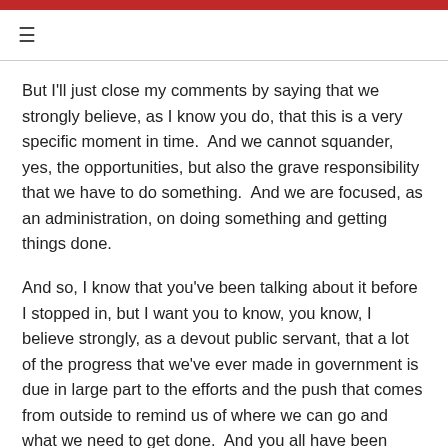≡
But I'll just close my comments by saying that we strongly believe, as I know you do, that this is a very specific moment in time.  And we cannot squander, yes, the opportunities, but also the grave responsibility that we have to do something.  And we are focused, as an administration, on doing something and getting things done.
And so, I know that you've been talking about it before I stopped in, but I want you to know, you know, I believe strongly, as a devout public servant, that a lot of the progress that we've ever made in government is due in large part to the efforts and the push that comes from outside to remind us of where we can go and what we need to get done.  And you all have been doing that for so very